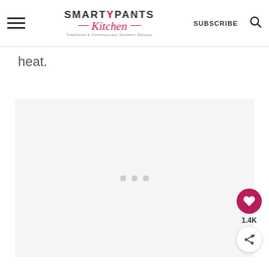SMARTYPANTS Kitchen — Traditional & Contemporary Southern Recipes — SUBSCRIBE
heat.
[Figure (other): Light gray placeholder advertisement box with three small gray squares in the center]
[Figure (other): Floating action buttons: heart/like button (crimson circle with white heart icon) showing count 1.4K, and share button (white circle with share icon)]